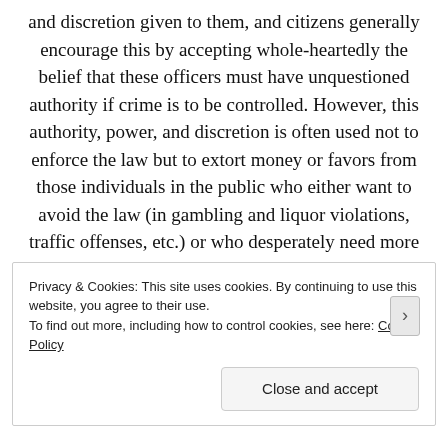and discretion given to them, and citizens generally encourage this by accepting whole-heartedly the belief that these officers must have unquestioned authority if crime is to be controlled. However, this authority, power, and discretion is often used not to enforce the law but to extort money or favors from those individuals in the public who either want to avoid the law (in gambling and liquor violations, traffic offenses, etc.) or who desperately need more of its protection.2’ Citizens also become involved in law
Privacy & Cookies: This site uses cookies. By continuing to use this website, you agree to their use. To find out more, including how to control cookies, see here: Cookie Policy